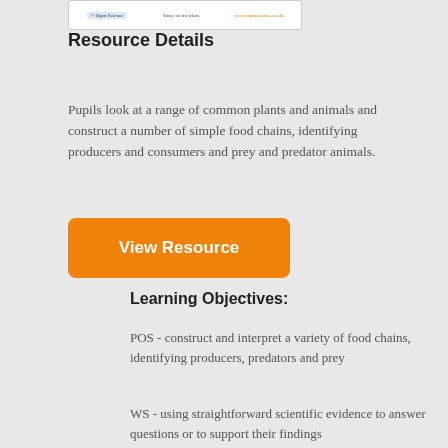[Figure (screenshot): Partial screenshot of a webpage showing navigation tabs]
Resource Details
Pupils look at a range of common plants and animals and construct a number of simple food chains, identifying producers and consumers and prey and predator animals.
[Figure (other): Orange 'View Resource' button]
Learning Objectives:
POS - construct and interpret a variety of food chains, identifying producers, predators and prey
WS - using straightforward scientific evidence to answer questions or to support their findings